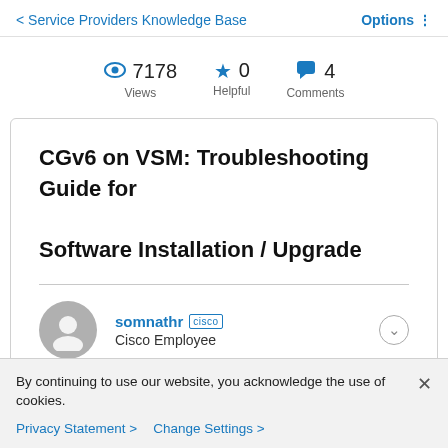< Service Providers Knowledge Base   Options !
7178 Views   0 Helpful   4 Comments
CGv6 on VSM: Troubleshooting Guide for Software Installation / Upgrade
somnathr  Cisco  Cisco Employee
By continuing to use our website, you acknowledge the use of cookies.
Privacy Statement >   Change Settings >